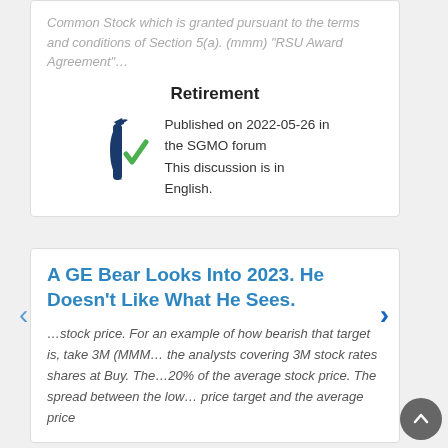Common Stock which is granted pursuant to the terms and conditions of Section 5(a). (mmm) "RSU Award Agreement"…
Retirement
[Figure (logo): Logo with dark blue stylized letter I and green checkmark]
Published on 2022-05-26 in the SGMO forum This discussion is in English.
A GE Bear Looks Into 2023. He Doesn't Like What He Sees.
…stock price. For an example of how bearish that target is, take 3M (MMM… the analysts covering 3M stock rates shares at Buy. The…20% of the average stock price. The spread between the low… price target and the average price